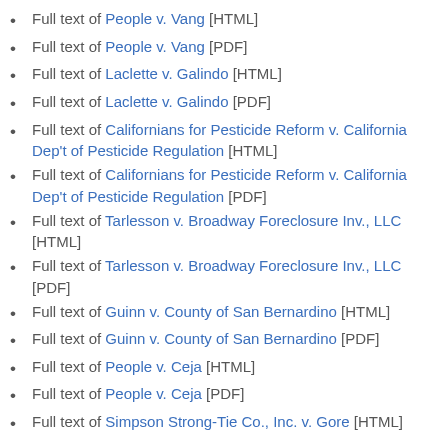Full text of People v. Vang [HTML]
Full text of People v. Vang [PDF]
Full text of Laclette v. Galindo [HTML]
Full text of Laclette v. Galindo [PDF]
Full text of Californians for Pesticide Reform v. California Dep't of Pesticide Regulation [HTML]
Full text of Californians for Pesticide Reform v. California Dep't of Pesticide Regulation [PDF]
Full text of Tarlesson v. Broadway Foreclosure Inv., LLC [HTML]
Full text of Tarlesson v. Broadway Foreclosure Inv., LLC [PDF]
Full text of Guinn v. County of San Bernardino [HTML]
Full text of Guinn v. County of San Bernardino [PDF]
Full text of People v. Ceja [HTML]
Full text of People v. Ceja [PDF]
Full text of Simpson Strong-Tie Co., Inc. v. Gore [HTML]